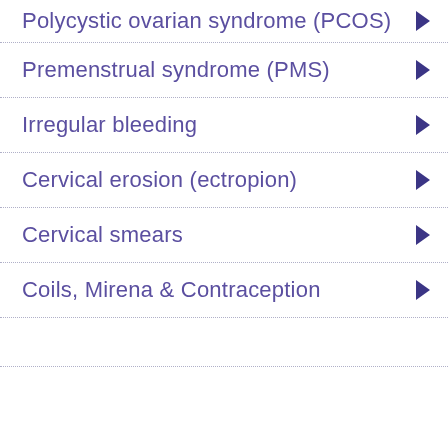Polycystic ovarian syndrome (PCOS)
Premenstrual syndrome (PMS)
Irregular bleeding
Cervical erosion (ectropion)
Cervical smears
Coils, Mirena & Contraception